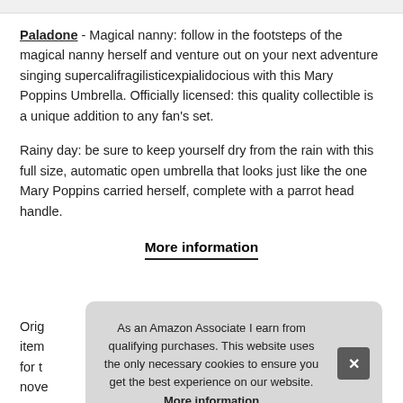Paladone - Magical nanny: follow in the footsteps of the magical nanny herself and venture out on your next adventure singing supercalifragilisticexpialidocious with this Mary Poppins Umbrella. Officially licensed: this quality collectible is a unique addition to any fan's set.
Rainy day: be sure to keep yourself dry from the rain with this full size, automatic open umbrella that looks just like the one Mary Poppins carried herself, complete with a parrot head handle.
More information
Orig item for t nove
As an Amazon Associate I earn from qualifying purchases. This website uses the only necessary cookies to ensure you get the best experience on our website. More information